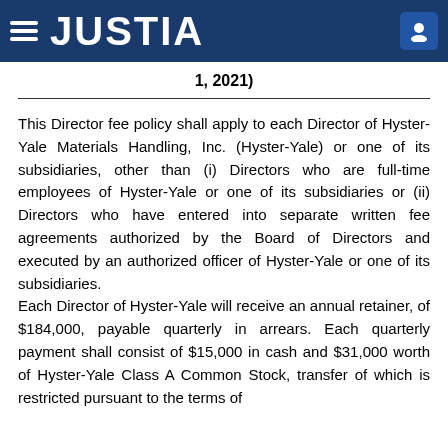JUSTIA
1, 2021)
This Director fee policy shall apply to each Director of Hyster-Yale Materials Handling, Inc. (Hyster-Yale) or one of its subsidiaries, other than (i) Directors who are full-time employees of Hyster-Yale or one of its subsidiaries or (ii) Directors who have entered into separate written fee agreements authorized by the Board of Directors and executed by an authorized officer of Hyster-Yale or one of its subsidiaries. Each Director of Hyster-Yale will receive an annual retainer, of $184,000, payable quarterly in arrears. Each quarterly payment shall consist of $15,000 in cash and $31,000 worth of Hyster-Yale Class A Common Stock, transfer of which is restricted pursuant to the terms of